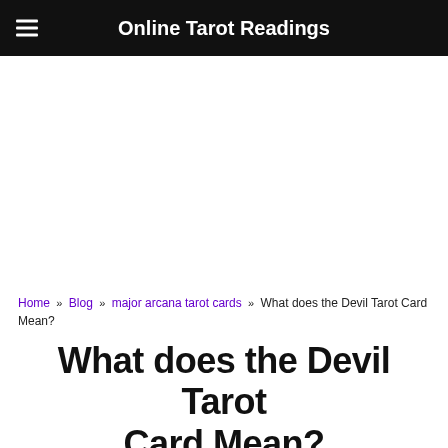Online Tarot Readings
[Figure (other): Advertisement / blank white space area]
Home » Blog » major arcana tarot cards » What does the Devil Tarot Card Mean?
What does the Devil Tarot Card Mean?
admin